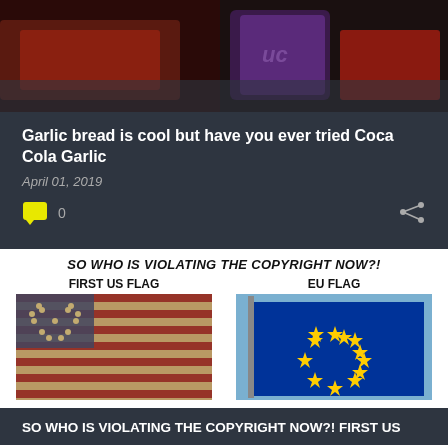[Figure (photo): Dark photo showing what appears to be food items including a purple drink can and red sauce/garlic bread]
Garlic bread is cool but have you ever tried Coca Cola Garlic
April 01, 2019
[Figure (infographic): Comment icon (yellow speech bubble) with count 0, and share icon on right]
[Figure (infographic): Meme image showing SO WHO IS VIOLATING THE COPYRIGHT NOW?! with two flags: FIRST US FLAG (Betsy Ross 13-star flag) and EU FLAG (European Union blue flag with yellow stars)]
SO WHO IS VIOLATING THE COPYRIGHT NOW?! FIRST US